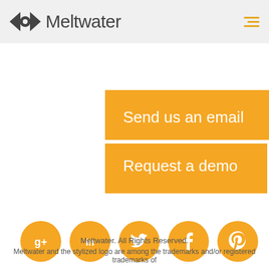Meltwater
Send us an email
Request a demo
[Figure (illustration): Five circular orange social media icons in a row: Google+, LinkedIn, Twitter, Facebook, Pinterest]
Meltwater. All Rights Reserved. Meltwater and the stylized logo are among the trademarks and/or registered trademarks of